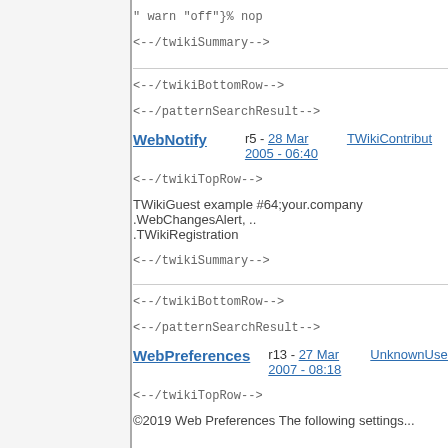" warn "off"}% nop
<--/twikiSummary-->
<--/twikiBottomRow-->
<--/patternSearchResult-->
WebNotify  r5 - 28 Mar 2005 - 06:40  TWikiContribute
<--/twikiTopRow-->
TWikiGuest example #64;your.company .WebChangesAlert, .. .TWikiRegistration
<--/twikiSummary-->
<--/twikiBottomRow-->
<--/patternSearchResult-->
WebPreferences  r13 - 27 Mar 2007 - 08:18  UnknownUser
<--/twikiTopRow-->
© Web Preferences The following settings...